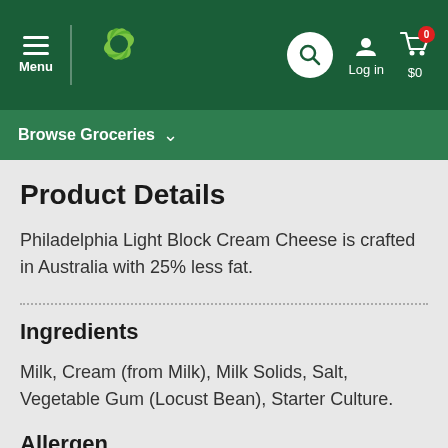Menu | Woolworths | Search | Log in | $0
Browse Groceries
Product Details
Philadelphia Light Block Cream Cheese is crafted in Australia with 25% less fat.
Ingredients
Milk, Cream (from Milk), Milk Solids, Salt, Vegetable Gum (Locust Bean), Starter Culture.
Allergen